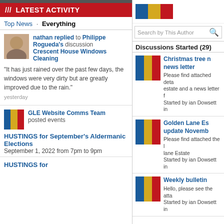/// LATEST ACTIVITY
Top News · Everything
nathan replied to Philippe Rogueda's discussion Crescent House Windows Cleaning
"It has just rained over the past few days, the windows were very dirty but are greatly improved due to the rain."
yesterday
GLE Website Comms Team posted events
HUSTINGS for September's Aldermanic Elections
September 1, 2022 from 7pm to 9pm
HUSTINGS for
[Figure (logo): GLE coloured stripe logo (blue, gold, red stripes)]
Search by This Author
Discussions Started (29)
Christmas tree n news letter
Please find attached deta estate and a news letter f
Started by ian Dowsett in
Golden Lane Es update Novemb
Please find attached the l lane Estate
Started by ian Dowsett in
Weekly bulletin
Hello, please see the atta
Started by ian Dowsett in